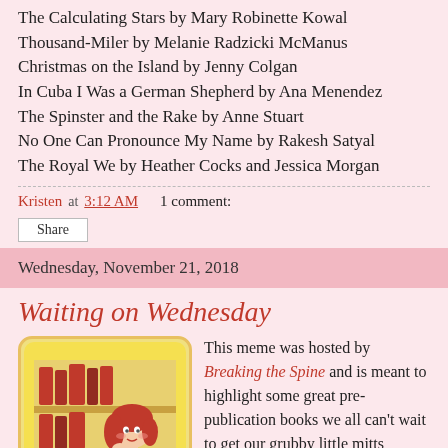The Calculating Stars by Mary Robinette Kowal
Thousand-Miler by Melanie Radzicki McManus
Christmas on the Island by Jenny Colgan
In Cuba I Was a German Shepherd by Ana Menendez
The Spinster and the Rake by Anne Stuart
No One Can Pronounce My Name by Rakesh Satyal
The Royal We by Heather Cocks and Jessica Morgan
Kristen at 3:12 AM    1 comment:
Share
Wednesday, November 21, 2018
Waiting on Wednesday
[Figure (illustration): Illustration of a girl with red hair in a blue shirt leaning on her hand thoughtfully, with red books on a shelf in the background, on a yellow background with rounded corners]
This meme was hosted by Breaking the Spine and is meant to highlight some great pre-publication books we all can't wait to get our grubby little mitts